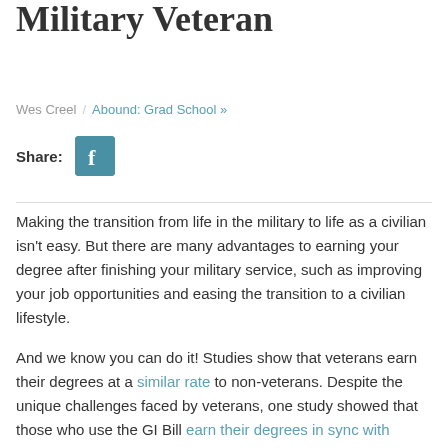Military Veteran
Wes Creel / Abound: Grad School »
[Figure (logo): Facebook share icon button]
Making the transition from life in the military to life as a civilian isn't easy. But there are many advantages to earning your degree after finishing your military service, such as improving your job opportunities and easing the transition to a civilian lifestyle.
And we know you can do it! Studies show that veterans earn their degrees at a similar rate to non-veterans. Despite the unique challenges faced by veterans, one study showed that those who use the GI Bill earn their degrees in sync with traditional students.